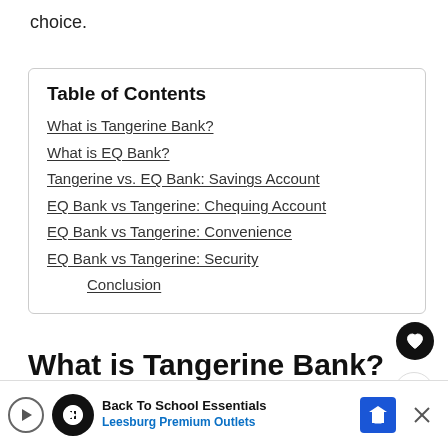choice.
| Table of Contents |
| What is Tangerine Bank? |
| What is EQ Bank? |
| Tangerine vs. EQ Bank: Savings Account |
| EQ Bank vs Tangerine: Chequing Account |
| EQ Bank vs Tangerine: Convenience |
| EQ Bank vs Tangerine: Security |
| Conclusion |
What is Tangerine Bank?
Tangerine is a subsidiary of Scotiabank...